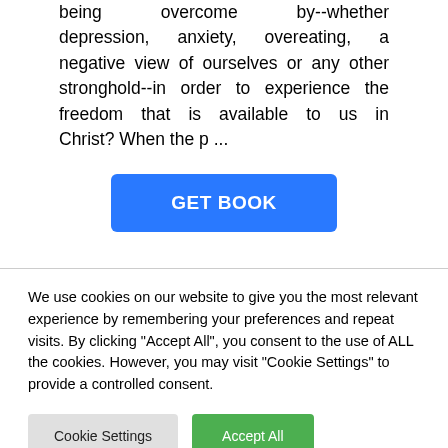being overcome by--whether depression, anxiety, overeating, a negative view of ourselves or any other stronghold--in order to experience the freedom that is available to us in Christ? When the p ...
[Figure (other): Blue button labeled GET BOOK]
We use cookies on our website to give you the most relevant experience by remembering your preferences and repeat visits. By clicking "Accept All", you consent to the use of ALL the cookies. However, you may visit "Cookie Settings" to provide a controlled consent.
[Figure (other): Cookie settings buttons: Cookie Settings (gray) and Accept All (green)]